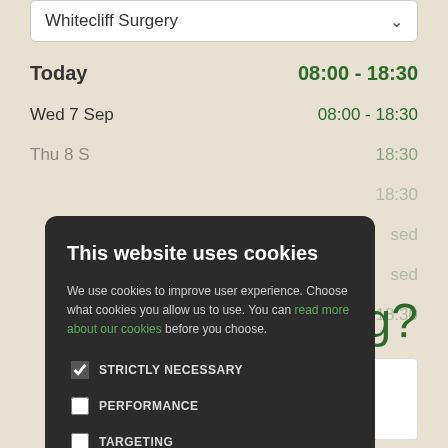Whitecliff Surgery
| Day | Hours |
| --- | --- |
| Today | 08:00 - 18:30 |
| Wed 7 Sep | 08:00 - 18:30 |
| Thu 8 S... | ...18:30 |
| ... | ...18:30 |
| ... | ...sed |
| ... | ...sed |
| ... | ...18:30 |
This website uses cookies
We use cookies to improve user experience. Choose what cookies you allow us to use. You can read more about our cookies before you choose.
STRICTLY NECESSARY
PERFORMANCE
TARGETING
FUNCTIONALITY
ACCEPT ALL
DECLINE ALL